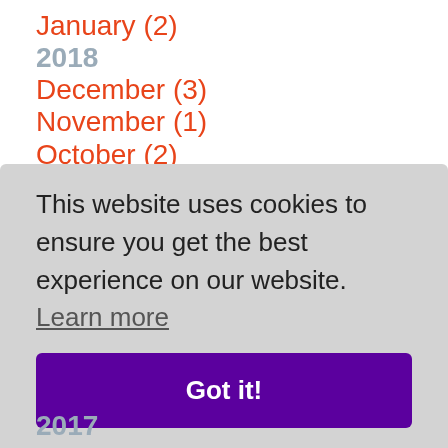January (2)
2018
December (3)
November (1)
October (2)
September (2)
August (2)
July (2)
June (2)
May (2)
This website uses cookies to ensure you get the best experience on our website. Learn more
Got it!
2017